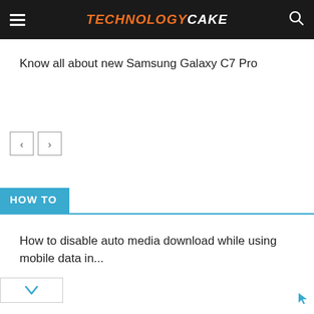TECHNOLOGY CAKE
Know all about new Samsung Galaxy C7 Pro
[Figure (other): Navigation left/right arrow buttons]
HOW TO
How to disable auto media download while using mobile data in...
[Figure (other): Dropdown chevron button and cursor arrow]